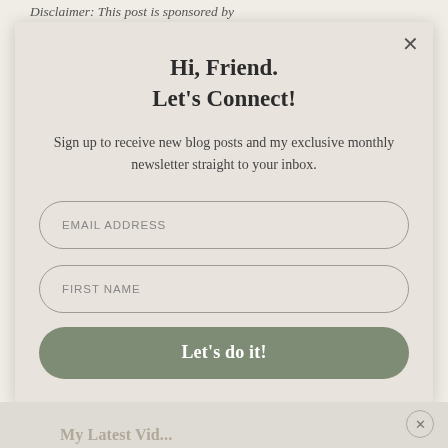Disclaimer: This post is sponsored by
Hi, Friend.
Let's Connect!
Sign up to receive new blog posts and my exclusive monthly newsletter straight to your inbox.
EMAIL ADDRESS
FIRST NAME
Let's do it!
My Latest Vid...